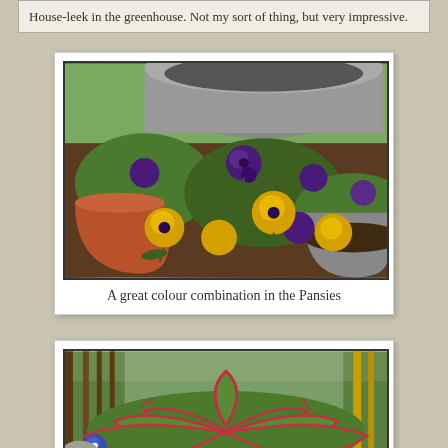House-leek in the greenhouse. Not my sort of thing, but very impressive.
[Figure (photo): Pansies with purple and yellow/orange colour combination in pots in a garden setting]
A great colour combination in the Pansies
[Figure (photo): A large decorative plant with frilly red-edged green leaves in a greenhouse setting]